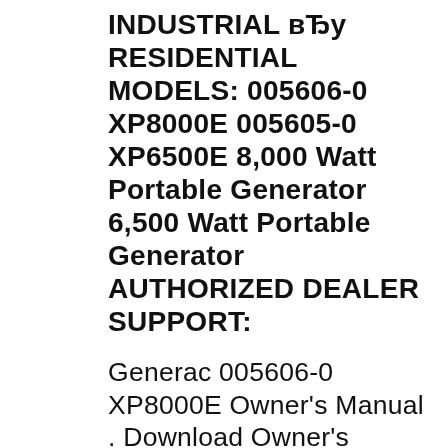INDUSTRIAL вЂу RESIDENTIAL MODELS: 005606-0 XP8000E 005605-0 XP6500E 8,000 Watt Portable Generator 6,500 Watt Portable Generator AUTHORIZED DEALER SUPPORT:
Generac 005606-0 XP8000E Owner's Manual . Download Owner's manual of Generac Power Systems 005605-0 XP6500E Portable Generator for Free or View it Online on All-Guides.com. Look here for bestsellers, favorite classics, and more including new top-rated name Generac Xp8000e User Manual. The internet sites is an start, editable selection list to see free Generac Xp8000e User Manual Download PDF online. From this amazing site, you are